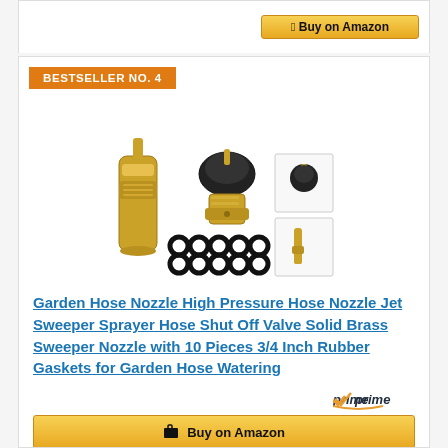[Figure (screenshot): Top portion of a white product card showing a partially visible gold/yellow Buy on Amazon button at top right]
BESTSELLER NO. 4
[Figure (photo): Photo of a brass garden hose nozzle kit with high pressure nozzle, shut off valve, black rubber O-rings/gaskets, and component detail images]
Garden Hose Nozzle High Pressure Hose Nozzle Jet Sweeper Sprayer Hose Shut Off Valve Solid Brass Sweeper Nozzle with 10 Pieces 3/4 Inch Rubber Gaskets for Garden Hose Watering
[Figure (logo): Amazon Prime logo with orange checkmark]
[Figure (screenshot): Buy on Amazon button (partially visible at bottom)]